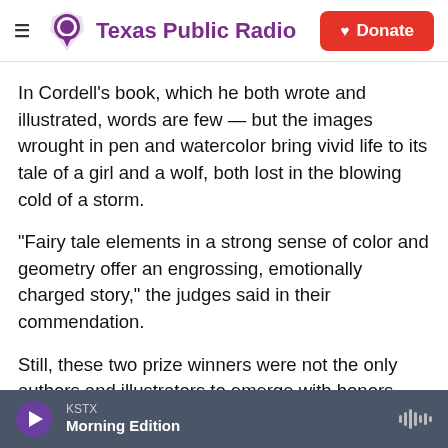Texas Public Radio | Donate
In Cordell's book, which he both wrote and illustrated, words are few — but the images wrought in pen and watercolor bring vivid life to its tale of a girl and a wolf, both lost in the blowing cold of a storm.
"Fairy tale elements in a strong sense of color and geometry offer an engrossing, emotionally charged story," the judges said in their commendation.
Still, these two prize winners were not the only authors and illustrators to emerge with honors
KSTX Morning Edition